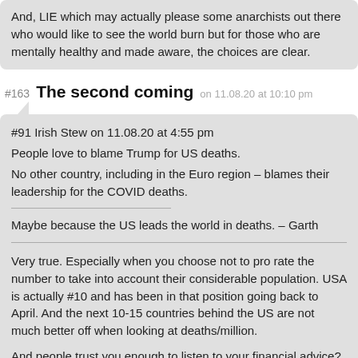And, LIE which may actually please some anarchists out there who would like to see the world burn but for those who are mentally healthy and made aware, the choices are clear.
#163 The second coming on 11.08.20 at 10:10 pm
#91 Irish Stew on 11.08.20 at 4:55 pm
People love to blame Trump for US deaths.
No other country, including in the Euro region – blames their leadership for the COVID deaths.

Maybe because the US leads the world in deaths. – Garth

Very true. Especially when you choose not to pro rate the number to take into account their considerable population. USA is actually #10 and has been in that position going back to April. And the next 10-15 countries behind the US are not much better off when looking at deaths/million.

And people trust you enough to listen to your financial advice?